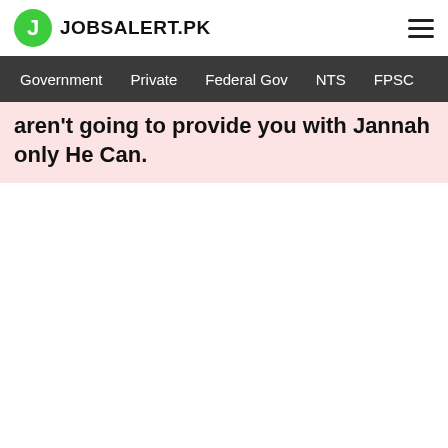JOBSALERT.PK
Government   Private   Federal Gov   NTS   FPSC
aren't going to provide you with Jannah only He Can.